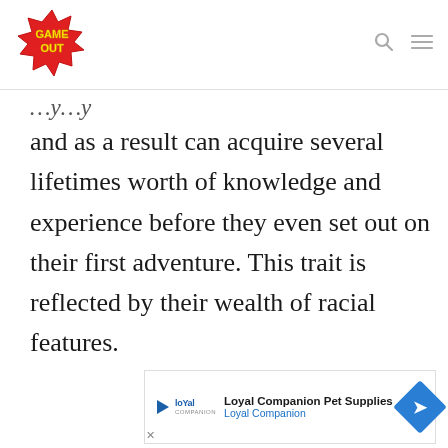[Figure (logo): Game Out logo — red starburst shape with yellow text 'GAME OUT']
and as a result can acquire several lifetimes worth of knowledge and experience before they even set out on their first adventure. This trait is reflected by their wealth of racial features.
[Figure (other): Loyal Companion Pet Supplies advertisement banner with play button icon, Loyal Companion logo, and blue navigation arrow icon]